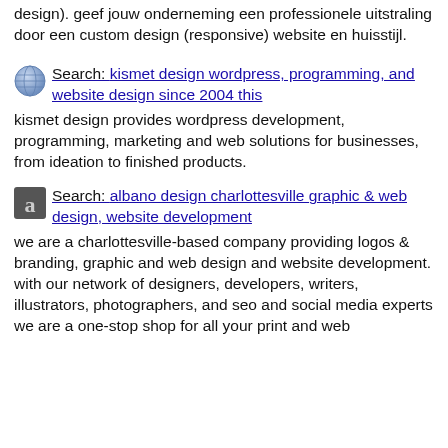design). geef jouw onderneming een professionele uitstraling door een custom design (responsive) website en huisstijl.
Search: kismet design wordpress, programming, and website design since 2004 this
kismet design provides wordpress development, programming, marketing and web solutions for businesses, from ideation to finished products.
Search: albano design charlottesville graphic & web design, website development
we are a charlottesville-based company providing logos & branding, graphic and web design and website development. with our network of designers, developers, writers, illustrators, photographers, and seo and social media experts we are a one-stop shop for all your print and web